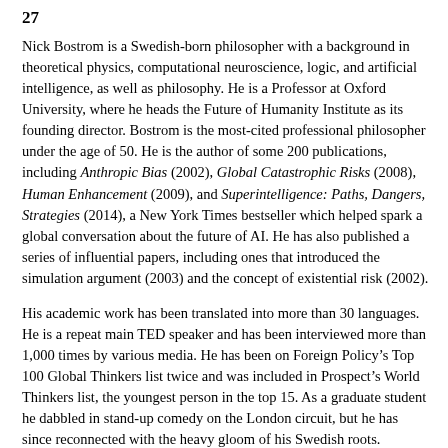27
Nick Bostrom is a Swedish-born philosopher with a background in theoretical physics, computational neuroscience, logic, and artificial intelligence, as well as philosophy. He is a Professor at Oxford University, where he heads the Future of Humanity Institute as its founding director. Bostrom is the most-cited professional philosopher under the age of 50. He is the author of some 200 publications, including Anthropic Bias (2002), Global Catastrophic Risks (2008), Human Enhancement (2009), and Superintelligence: Paths, Dangers, Strategies (2014), a New York Times bestseller which helped spark a global conversation about the future of AI. He has also published a series of influential papers, including ones that introduced the simulation argument (2003) and the concept of existential risk (2002).
His academic work has been translated into more than 30 languages. He is a repeat main TED speaker and has been interviewed more than 1,000 times by various media. He has been on Foreign Policy’s Top 100 Global Thinkers list twice and was included in Prospect’s World Thinkers list, the youngest person in the top 15. As a graduate student he dabbled in stand-up comedy on the London circuit, but he has since reconnected with the heavy gloom of his Swedish roots.
For more background, see profiles in e.g.